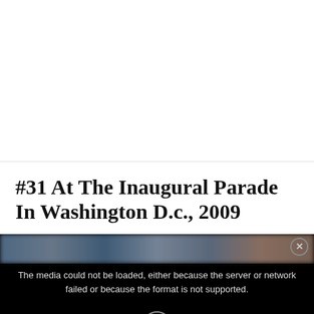[Figure (photo): White blank space at top of page, representing an empty or unloaded image area]
#31 At The Inaugural Parade In Washington D.c., 2009
[Figure (screenshot): A media player showing an error message: 'The media could not be loaded, either because the server or network failed or because the format is not supported.' with a blurred crowd image strip at top and an X icon at bottom center.]